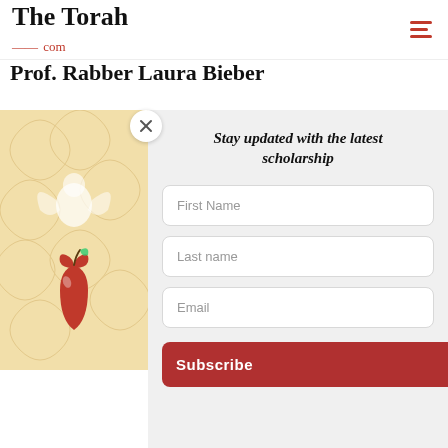The Torah .com
Prof. Rabber Laura Bieber
[Figure (illustration): Decorative illustration with cream/gold floral swirl background and a red heart-shaped apple with a worm, on the left panel of a modal popup]
Stay updated with the latest scholarship
First Name
Last name
Email
Subscribe